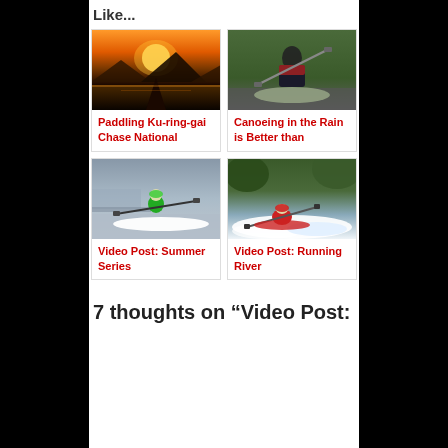Like...
[Figure (photo): Kayak at sunset on a lake with mountains in background]
Paddling Ku-ring-gai Chase National
[Figure (photo): Person in red jacket canoeing in the rain]
Canoeing in the Rain is Better than
[Figure (photo): Kayaker in green jacket on calm water during summer series race]
Video Post: Summer Series
[Figure (photo): Kayaker in red running a river with white water rapids]
Video Post: Running River
7 thoughts on “Video Post: